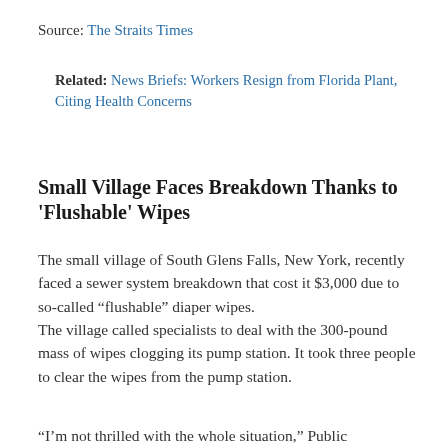Source: The Straits Times
Related: News Briefs: Workers Resign from Florida Plant, Citing Health Concerns
Small Village Faces Breakdown Thanks to 'Flushable' Wipes
The small village of South Glens Falls, New York, recently faced a sewer system breakdown that cost it $3,000 due to so-called “flushable” diaper wipes.
The village called specialists to deal with the 300-pound mass of wipes clogging its pump station. It took three people to clear the wipes from the pump station.
“I’m not thrilled with the whole situation,” Public